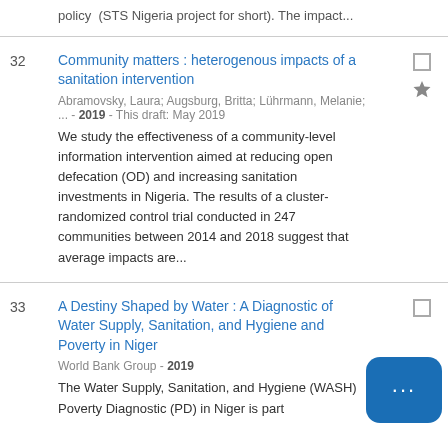policy  (STS Nigeria project for short). The impact...
Community matters : heterogenous impacts of a sanitation intervention
Abramovsky, Laura; Augsburg, Britta; Lührmann, Melanie; ... - 2019 - This draft: May 2019
We study the effectiveness of a community-level information intervention aimed at reducing open defecation (OD) and increasing sanitation investments in Nigeria. The results of a cluster-randomized control trial conducted in 247 communities between 2014 and 2018 suggest that average impacts are...
A Destiny Shaped by Water : A Diagnostic of Water Supply, Sanitation, and Hygiene and Poverty in Niger
World Bank Group - 2019
The Water Supply, Sanitation, and Hygiene (WASH) Poverty Diagnostic (PD) in Niger is part